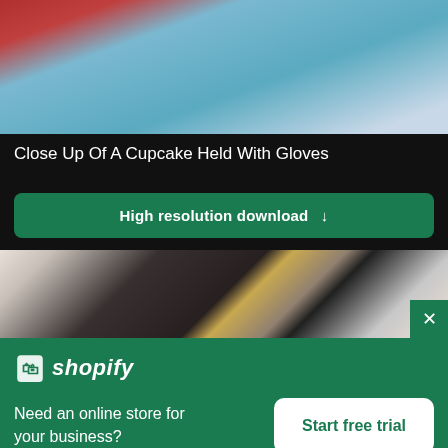[Figure (photo): Close up photo of a cupcake held with gloves - teal/blue gloves visible against light gray background]
Close Up Of A Cupcake Held With Gloves
High resolution download ↓
[Figure (photo): Blurred photo showing food being served, dark background with colorful dish and white gloved hands]
[Figure (logo): Shopify logo with shopping bag icon]
Need an online store for your business?
Start free trial